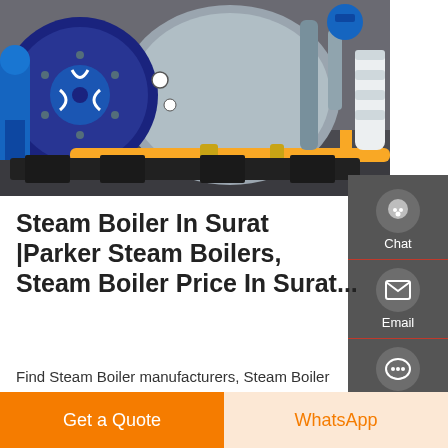[Figure (photo): Industrial steam boiler equipment in a facility — shows a large blue cylindrical boiler with a circular front plate, pipes, valves, and a yellow horizontal pipe in the foreground]
Steam Boiler In Surat |Parker Steam Boilers, Steam Boiler Price In Surat...
Find Steam Boiler manufacturers, Steam Boiler suppliers, exporters, wholesalers and distributors in Surat Gujarat India - List of Steam Boiler selling companies from Surat with catalogs, phone numbers, addresses & prices for Steam...